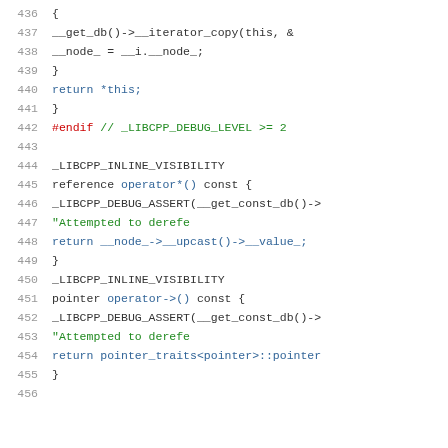[Figure (screenshot): Source code listing lines 436-456 of a C++ file showing iterator operator definitions with debug assertions. Lines include __get_db iterator copy, __node_ assignment, return statements, preprocessor directives, _LIBCPP_INLINE_VISIBILITY macros, operator* and operator-> implementations.]